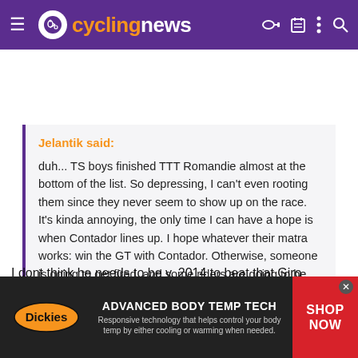cyclingnews
Jelantik said:
duh... TS boys finished TTT Romandie almost at the bottom of the list. So depressing, I can't even rooting them since they never seem to show up on the race. It's kinda annoying, the only time I can have a hope is when Contador lines up. I hope whatever their matra works: win the GT with Contador. Otherwise, someone is going to get fired, and some riders are going to be out of job by the end of the season. I'm crossing my finger that Contador will be flying and
Click to expand...
I dont think he needs to be v. 2014 to beat that Giro competition, for Tour thats another question...
[Figure (other): Dickies Advanced Body Temp Tech advertisement banner with shop now button]